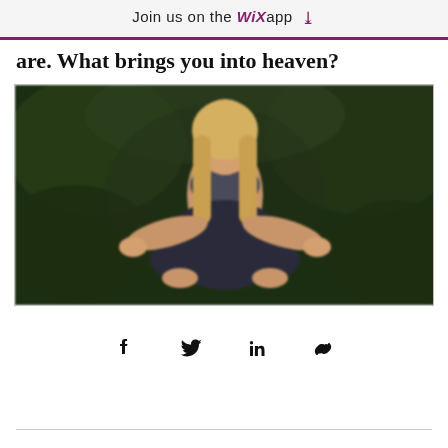Join us on the WiX app ⤓
are. What brings you into heaven?
[Figure (photo): A blurred photo of a woman in yoga/meditation lotus pose, wearing athletic wear, seated against a dark green leafy background.]
Share via Facebook, Twitter, LinkedIn, and link icons